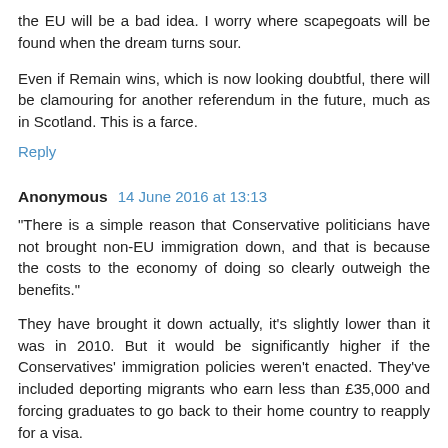the EU will be a bad idea. I worry where scapegoats will be found when the dream turns sour.
Even if Remain wins, which is now looking doubtful, there will be clamouring for another referendum in the future, much as in Scotland. This is a farce.
Reply
Anonymous  14 June 2016 at 13:13
"There is a simple reason that Conservative politicians have not brought non-EU immigration down, and that is because the costs to the economy of doing so clearly outweigh the benefits."
They have brought it down actually, it's slightly lower than it was in 2010. But it would be significantly higher if the Conservatives' immigration policies weren't enacted. They've included deporting migrants who earn less than £35,000 and forcing graduates to go back to their home country to reapply for a visa.